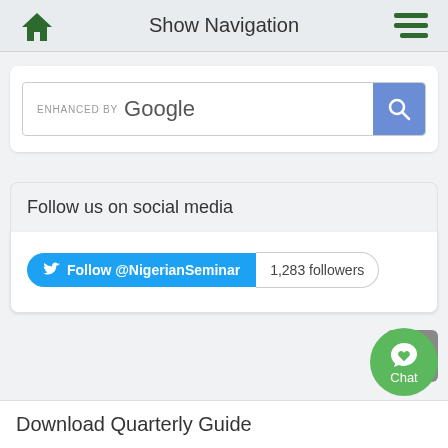Show Navigation
[Figure (screenshot): Google enhanced search box with blue search button and magnifying glass icon]
Follow us on social media
[Figure (infographic): Twitter follow button for @NigerianSeminar showing 1,283 followers]
[Figure (infographic): Back to top arrow button (grey)]
[Figure (infographic): Green Chat button with messenger icon]
Download Quarterly Guide